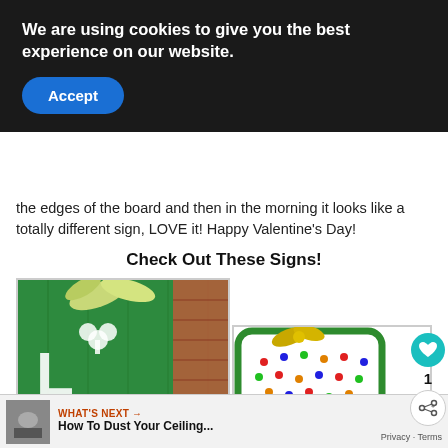We are using cookies to give you the best experience on our website.
Accept
the edges of the board and then in the morning it looks like a totally different sign, LOVE it! Happy Valentine's Day!
Check Out These Signs!
[Figure (photo): Green wooden LUCK sign with shamrock and bow, leaning against a brick wall]
[Figure (photo): DIY Joy Sign with colorful dot pattern on white background with green border and gold bow. DIY Joy SIGN branding at bottom.]
WHAT'S NEXT → How To Dust Your Ceiling...
Privacy · Terms